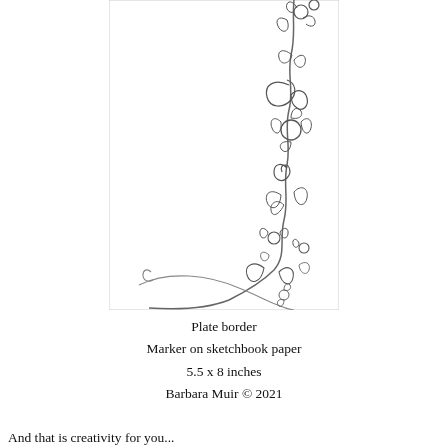[Figure (illustration): A line drawing on white paper showing a decorative plate border design with floral and vine motifs — flowers, leaves, scrolls and curling stems — running along the right side and bottom corner of the page, done in marker on sketchbook paper.]
Plate border
Marker on sketchbook paper
5.5 x 8 inches
Barbara Muir © 2021
And that is creativity for you...